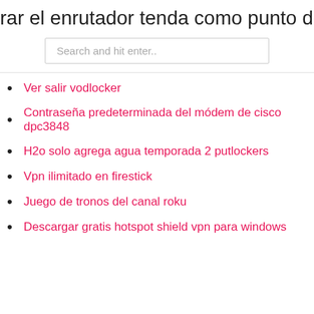rar el enrutador tenda como punto de
[Figure (screenshot): Search input box with placeholder text 'Search and hit enter..']
Ver salir vodlocker
Contraseña predeterminada del módem de cisco dpc3848
H2o solo agrega agua temporada 2 putlockers
Vpn ilimitado en firestick
Juego de tronos del canal roku
Descargar gratis hotspot shield vpn para windows